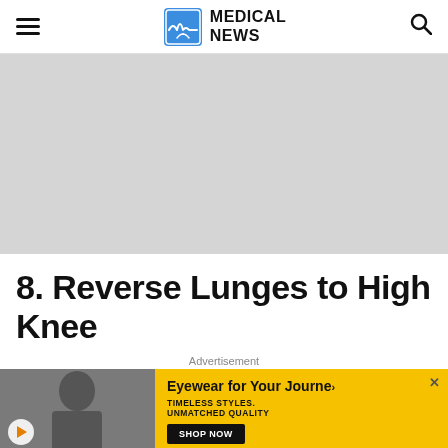MEDICAL NEWS
[Figure (photo): Gray placeholder image for article content]
8. Reverse Lunges to High Knee
Advertisement
[Figure (photo): Advertisement banner: Man wearing sunglasses. Text reads 'Eyewear for Your Journey. TIMELESS STYLES. UNMATCHED QUALITY. SHOP NOW']